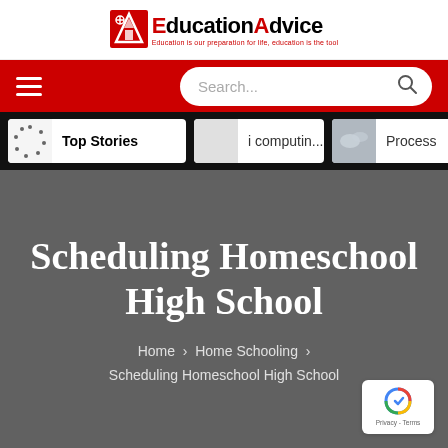EducationAdvice — Education is our preparation for life, education is the tool
[Figure (screenshot): EducationAdvice website navigation bar with hamburger menu on left and search box on right, red background]
[Figure (screenshot): Stories bar with Top Stories card, computing card, and Process card on black background]
Scheduling Homeschool High School
Home > Home Schooling > Scheduling Homeschool High School